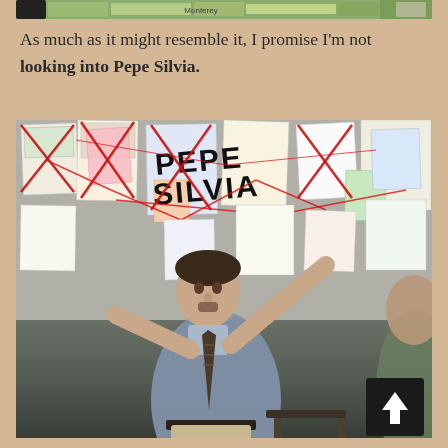[Figure (screenshot): Top strip showing a map screenshot (Google Maps style with green/terrain view), partially cropped at top]
As much as it might resemble it, I promise I'm not looking into Pepe Silvia.
[Figure (photo): Photo from It's Always Sunny in Philadelphia: Charlie Day's character standing in front of a wall covered in papers connected by red string, with 'PEPE SILVIA' written in large letters, pointing at the wall.]
[Figure (other): Scroll-to-top button (dark square with upward arrow) overlaid on bottom-right of photo]